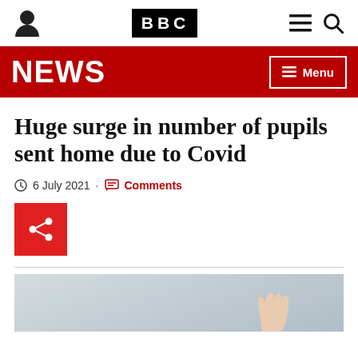BBC NEWS
Huge surge in number of pupils sent home due to Covid
6 July 2021 · Comments
[Figure (photo): Classroom photo showing a child raising their hand]